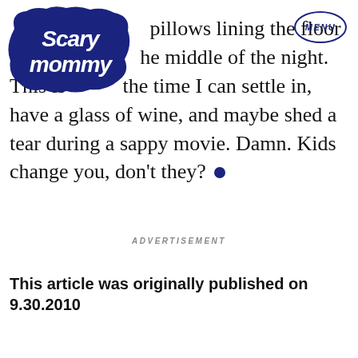[Figure (logo): Scary Mommy logo — dark navy blue bubble-letter script in a cloud/blob shape]
[Figure (other): MENU button in an oval/ellipse border, dark navy text, italic]
pillows lining the floor in the middle of the night. This is finally the time I can settle in, have a glass of wine, and maybe shed a tear during a sappy movie. Damn. Kids change you, don't they? •
ADVERTISEMENT
This article was originally published on 9.30.2010